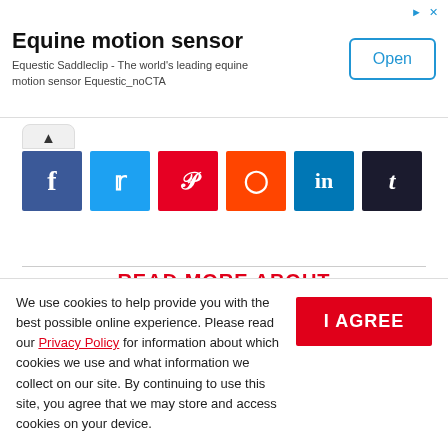[Figure (screenshot): Advertisement banner for Equine motion sensor: 'Equine motion sensor' title, subtitle 'Equestic Saddleclip - The world’s leading equine motion sensor Equestic_noCTA', with an 'Open' button on the right.]
[Figure (infographic): Social share bar with up-chevron button and six social media icons: Facebook (blue), Twitter (light blue), Pinterest (red), Reddit (orange-red), LinkedIn (blue), Tumblr (dark navy).]
READ MORE ABOUT
PRINCE WILLIAM
We use cookies to help provide you with the best possible online experience. Please read our Privacy Policy for information about which cookies we use and what information we collect on our site. By continuing to use this site, you agree that we may store and access cookies on your device.